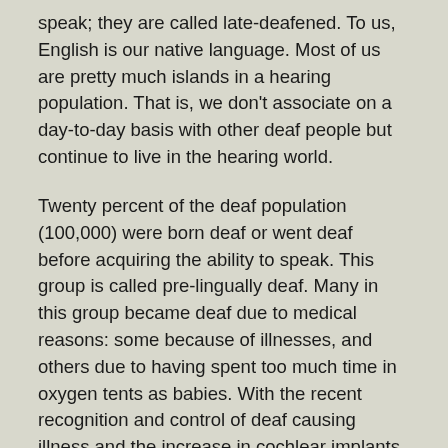speak; they are called late-deafened. To us, English is our native language. Most of us are pretty much islands in a hearing population. That is, we don't associate on a day-to-day basis with other deaf people but continue to live in the hearing world.
Twenty percent of the deaf population (100,000) were born deaf or went deaf before acquiring the ability to speak. This group is called pre-lingually deaf. Many in this group became deaf due to medical reasons: some because of illnesses, and others due to having spent too much time in oxygen tents as babies. With the recent recognition and control of deaf causing illness and the increase in cochlear implants, this group is shrinking rather dramatically in recent decades.
Many, but not all, of the pre-lingually deaf seek out and associated as much as possible with others like them. They formed what is known as the Deaf Culture (with a capital D)...